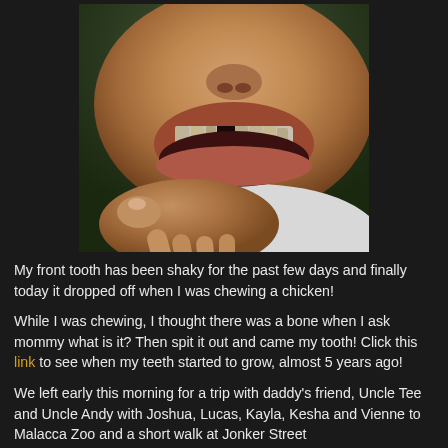[Figure (photo): Close-up photo of a child showing their mouth with a missing front tooth, with a hand holding their chin up from below.]
My front tooth has been shaky for the past few days and finally today it dropped off when I was chewing a chicken!
While I was chewing, I thought there was a bone when I ask mommy what is it? Then spit it out and came my tooth! Click this link to see when my teeth started to grow, almost 5 years ago!
We left early this morning for a trip with daddy's friend, Uncle Tee and Uncle Andy with Joshua, Lucas, Kayla, Kesha and Vienne to Malacca Zoo and a short walk at Jonker Street